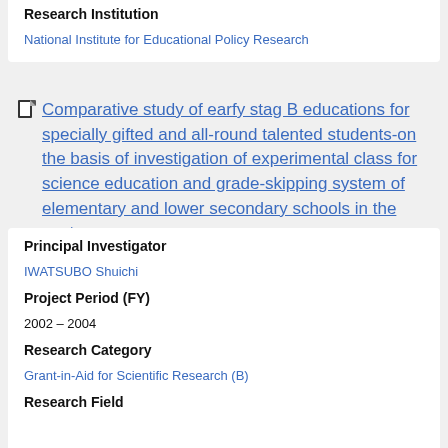Research Institution
National Institute for Educational Policy Research
Comparative study of earfy stag B educations for specially gifted and all-round talented students-on the basis of investigation of experimental class for science education and grade-skipping system of elementary and lower secondary schools in the past
Principal Investigator
IWATSUBO Shuichi
Project Period (FY)
2002 – 2004
Research Category
Grant-in-Aid for Scientific Research (B)
Research Field